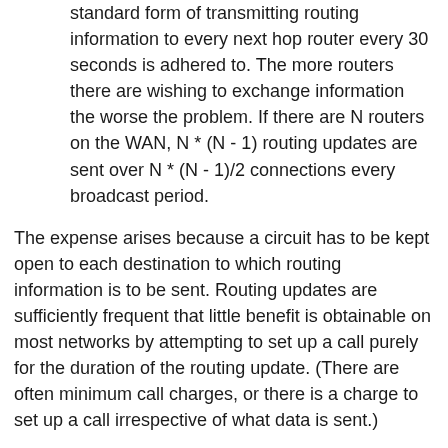standard form of transmitting routing information to every next hop router every 30 seconds is adhered to. The more routers there are wishing to exchange information the worse the problem. If there are N routers on the WAN, N * (N - 1) routing updates are sent over N * (N - 1)/2 connections every broadcast period.
The expense arises because a circuit has to be kept open to each destination to which routing information is to be sent. Routing updates are sufficiently frequent that little benefit is obtainable on most networks by attempting to set up a call purely for the duration of the routing update. (There are often minimum call charges, or there is a charge to set up a call irrespective of what data is sent.)
The option of reducing the 'broadcast' frequency, while reducing the cost, would make the system less responsive.
The number of networks to be connected (N) on the WAN can easily exceed the number of simultaneous calls (M), which the interface can support. If this